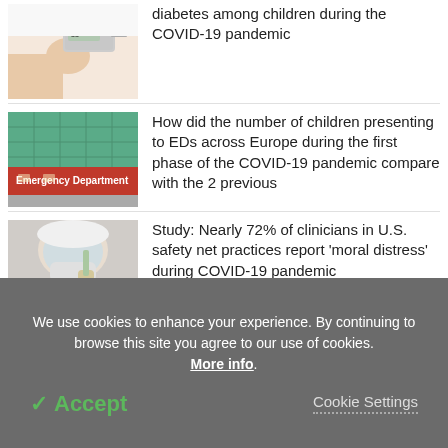[Figure (photo): Hands using a glucose meter device — blood sugar testing photo]
diabetes among children during the COVID-19 pandemic
[Figure (photo): Emergency Department building exterior with red signage reading 'Emergency Department']
How did the number of children presenting to EDs across Europe during the first phase of the COVID-19 pandemic compare with the 2 previous
[Figure (photo): Clinician in protective face shield and mask — medical PPE photo]
Study: Nearly 72% of clinicians in U.S. safety net practices report 'moral distress' during COVID-19 pandemic
We use cookies to enhance your experience. By continuing to browse this site you agree to our use of cookies. More info.
✓ Accept
Cookie Settings